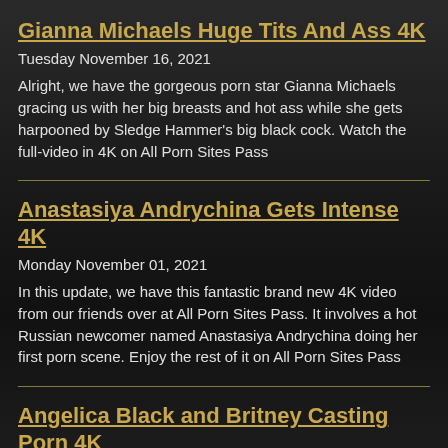Gianna Michaels Huge Tits And Ass 4K
Tuesday November 16, 2021
Alright, we have the gorgeous porn star Gianna Michaels gracing us with her big breasts and hot ass while she gets harpooned by Sledge Hammer's big black cock. Watch the full-video in 4K on All Porn Sites Pass
Anastasiya Andrychina Gets Intense 4K
Monday November 01, 2021
In this update, we have this fantastic brand new 4K video from our friends over at All Porn Sites Pass. It involves a hot Russian newcomer named Anastasiya Andrychina doing her first porn scene. Enjoy the rest of it on All Porn Sites Pass
Angelica Black and Britney Casting Porn 4K
Saturday October 16, 2021